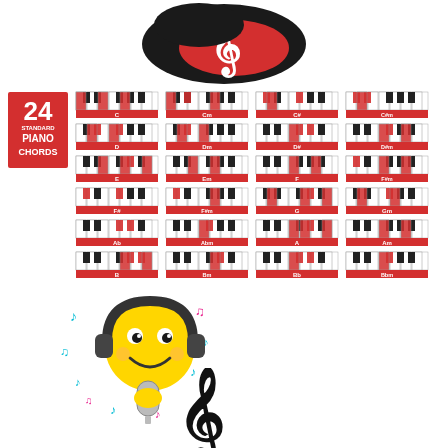[Figure (logo): Music school logo with treble clef in red and black oval shape at top of page]
[Figure (infographic): 24 Standard Piano Chords chart showing 24 piano keyboard diagrams in a 4x6 grid with red badge label, each showing highlighted keys for different chords]
[Figure (illustration): Yellow smiley face emoji wearing black headphones and holding a microphone, surrounded by colorful music notes]
[Figure (illustration): Black treble clef symbol at bottom center of page]